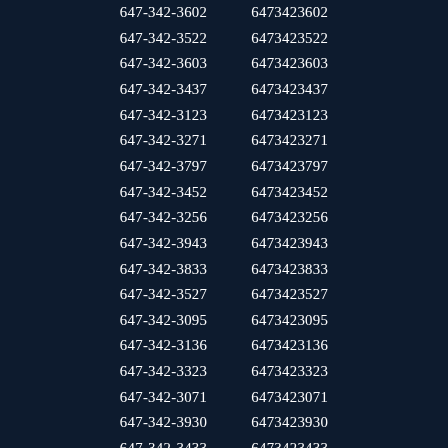| 647-342-3602 | 6473423602 |
| 647-342-3522 | 6473423522 |
| 647-342-3603 | 6473423603 |
| 647-342-3437 | 6473423437 |
| 647-342-3123 | 6473423123 |
| 647-342-3271 | 6473423271 |
| 647-342-3797 | 6473423797 |
| 647-342-3452 | 6473423452 |
| 647-342-3256 | 6473423256 |
| 647-342-3943 | 6473423943 |
| 647-342-3833 | 6473423833 |
| 647-342-3527 | 6473423527 |
| 647-342-3095 | 6473423095 |
| 647-342-3136 | 6473423136 |
| 647-342-3323 | 6473423323 |
| 647-342-3071 | 6473423071 |
| 647-342-3930 | 6473423930 |
| 647-342-3433 | 6473423433 |
| 647-342-3428 | 6473423428 |
| 647-342-3283 | 6473423283 |
| 647-342-3612 | 6473423612 |
| 647-342-3581 | 6473423581 |
| 647-342-3899 | 6473423899 |
| 647-342-3077 | 6473423077 |
| 647-342-3475 | 6473423475 |
| 647-342-3125 | 6473423125 |